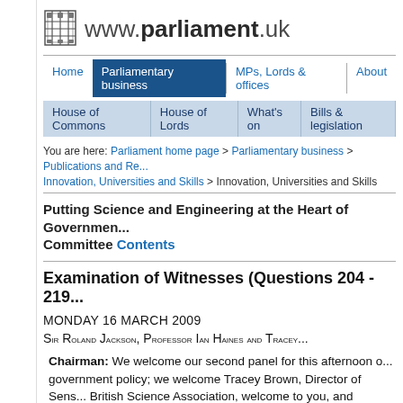www.parliament.uk
Home | Parliamentary business | MPs, Lords & offices | About
House of Commons | House of Lords | What's on | Bills & legislation
You are here: Parliament home page > Parliamentary business > Publications and Re... Innovation, Universities and Skills > Innovation, Universities and Skills
Putting Science and Engineering at the Heart of Government... Committee Contents
Examination of Witnesses (Questions 204 - 219...
MONDAY 16 MARCH 2009
SIR ROLAND JACKSON, PROFESSOR IAN HAINES AND TRACEY...
Chairman: We welcome our second panel for this afternoon o... government policy; we welcome Tracey Brown, Director of Sens... British Science Association, welcome to you, and Professor Ian... am going to ask Evan Harris if he would like to open this sessi...